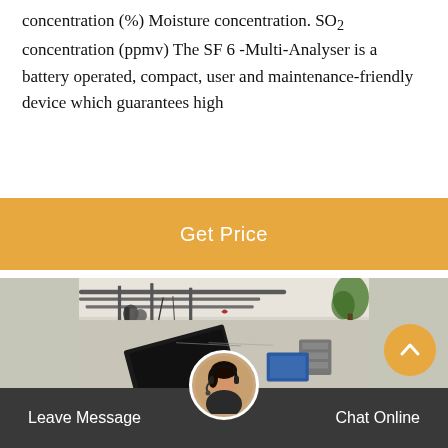concentration (%) Moisture concentration. SO2 concentration (ppmv) The SF 6 -Multi-Analyser is a battery operated, compact, user and maintenance-friendly device which guarantees high
[Figure (other): Orange 'Get Price' call-to-action button banner]
[Figure (photo): Industrial site photo showing overhead pipes, cables, equipment mounted on ceiling/wall, a dark monitor/panel in the foreground, blue equipment and green plant visible in background]
Leave Message   Chat Online